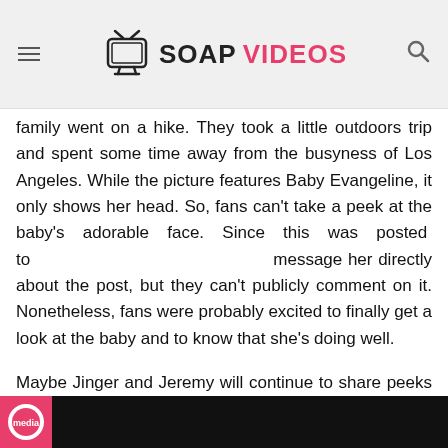TV SOAP VIDEOS
family went on a hike. They took a little outdoors trip and spent some time away from the busyness of Los Angeles. While the picture features Baby Evangeline, it only shows her head. So, fans can't take a peek at the baby's adorable face. Since this was posted to                                        message her directly about the post, but they can't publicly comment on it. Nonetheless, fans were probably excited to finally get a look at the baby and to know that she's doing well.
Maybe Jinger and Jeremy will continue to share peeks into their lives as parents despite not showing their kids' faces on social media. They could keep posting photos that don't feature their faces.
Be sure to catch up on everything happening with TLC right now. Come back here often for
[Figure (photo): Dark colored bottom strip with a pink/red circular logo on the left side]